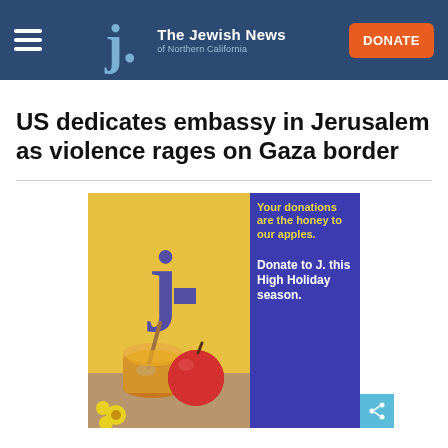The Jewish News of Northern California
US dedicates embassy in Jerusalem as violence rages on Gaza border
[Figure (illustration): Advertisement for J. The Jewish News of Northern California showing a honey jar and apple on yellow background with text 'Your donations are the honey to our apples. Donate to J. this High Holiday season.' on a blue/purple background with large J logo.]